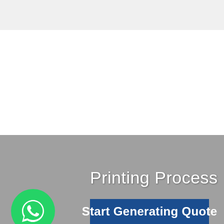[Figure (screenshot): Top gray/white background area of a webpage]
Printing Process
[Figure (infographic): WhatsApp icon circle (green background with white phone handset icon)]
Start Generating Quote